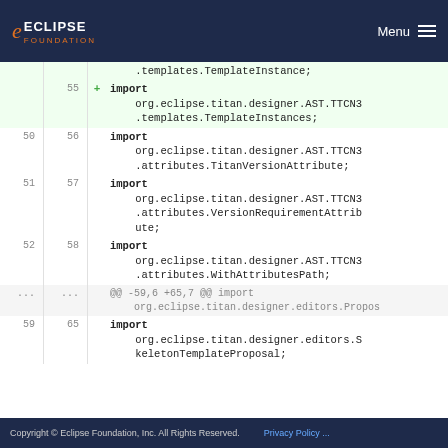ECLIPSE FOUNDATION  Menu
org.eclipse.titan.designer.AST.TTCN3.templates.TemplateInstance;
55  + import org.eclipse.titan.designer.AST.TTCN3.templates.TemplateInstances;
50  56  import org.eclipse.titan.designer.AST.TTCN3.attributes.TitanVersionAttribute;
51  57  import org.eclipse.titan.designer.AST.TTCN3.attributes.VersionRequirementAttribute;
52  58  import org.eclipse.titan.designer.AST.TTCN3.attributes.WithAttributesPath;
...  ...  @@ -59,6 +65,7 @@ import org.eclipse.titan.designer.editors.Propo
59  65  import org.eclipse.titan.designer.editors.SkeletonTemplateProposal;
Copyright © Eclipse Foundation, Inc. All Rights Reserved.   Privacy Policy ...